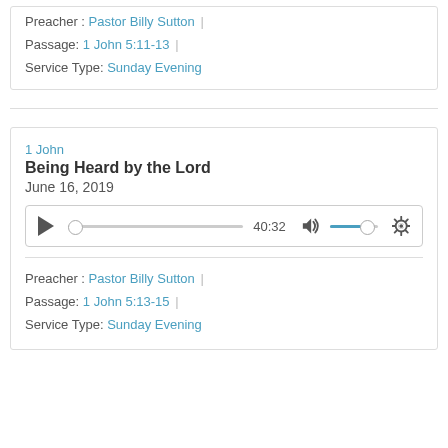Preacher : Pastor Billy Sutton | Passage: 1 John 5:11-13 | Service Type: Sunday Evening
1 John
Being Heard by the Lord
June 16, 2019
[Figure (other): Audio player with play button, seek bar, time 40:32, volume control, and settings gear icon]
Preacher : Pastor Billy Sutton | Passage: 1 John 5:13-15 | Service Type: Sunday Evening